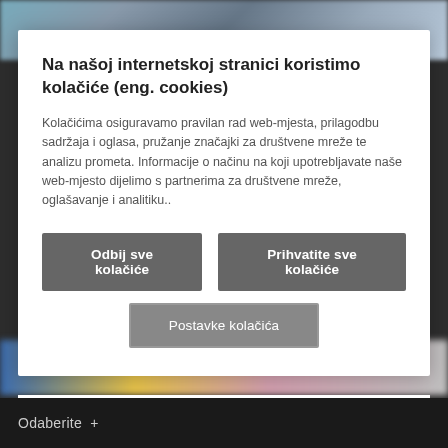[Figure (photo): Blurred background photo at top of page, showing what appears to be a sports or event scene]
Na našoj internetskoj stranici koristimo kolačiće (eng. cookies)
Kolačićima osiguravamo pravilan rad web-mjesta, prilagodbu sadržaja i oglasa, pružanje značajki za društvene mreže te analizu prometa. Informacije o načinu na koji upotrebljavate naše web-mjesto dijelimo s partnerima za društvene mreže, oglašavanje i analitiku..
Odbij sve kolačiće
Prihvatite sve kolačiće
Postavke kolačića
[Figure (photo): Blurred colorful banner image showing blue, yellow, and pink colors]
OUR EUROPEAN STORY
Uncover our long European history, from our
Odaberite +